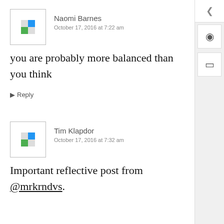Naomi Barnes
October 17, 2016 at 7:22 am
you are probably more balanced than you think
Reply
Tim Klapdor
October 17, 2016 at 7:32 am
Important reflective post from @mrkrndvs.